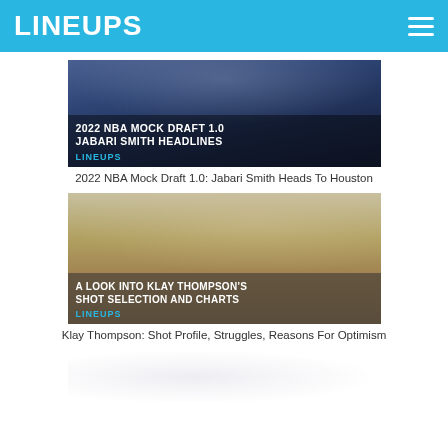LINEUPS
[Figure (photo): Basketball player dunking with text overlay: 2022 NBA MOCK DRAFT 1.0 JABARI SMITH HEADLINES, LINEUPS logo]
2022 NBA Mock Draft 1.0: Jabari Smith Heads To Houston
[Figure (photo): Basketball player Klay Thompson (#11) dribbling with text overlay: A LOOK INTO KLAY THOMPSON'S SHOT SELECTION AND CHARTS, LINEUPS logo]
Klay Thompson: Shot Profile, Struggles, Reasons For Optimism
[Figure (photo): Basketball game action photo, partially visible at bottom of page]